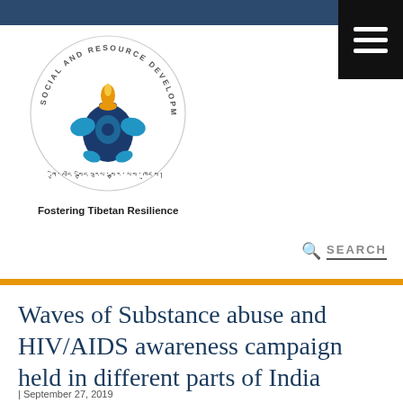[Figure (logo): Social and Resource Development Fund circular logo with Tibetan vase/figure illustration and text around the border, with Tibetan script below]
Fostering Tibetan Resilience
SEARCH
Waves of Substance abuse and HIV/AIDS awareness campaign held in different parts of India
| September 27, 2019